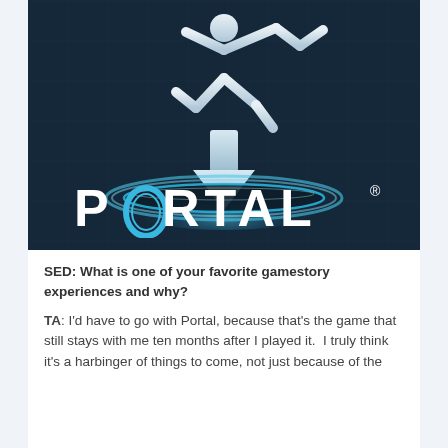[Figure (illustration): Portal video game logo/cover art showing a white stick figure running, a downward arrow, a glowing blue portal ring on the ground, and the word PORTAL in large white letters with the O replaced by a blue portal ring icon, on a dark teal/navy background.]
SED: What is one of your favorite gamestory experiences and why?
TA: I'd have to go with Portal, because that's the game that still stays with me ten months after I played it.  I truly think it's a harbinger of things to come, not just because of the...